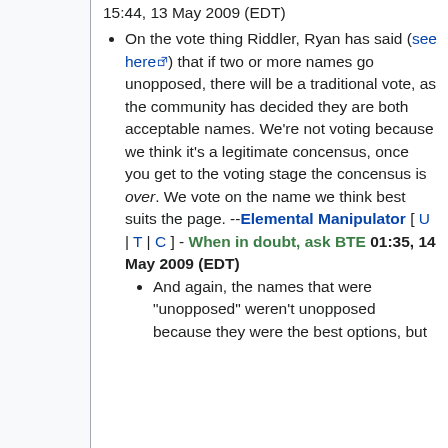15:44, 13 May 2009 (EDT)
On the vote thing Riddler, Ryan has said (see here) that if two or more names go unopposed, there will be a traditional vote, as the community has decided they are both acceptable names. We're not voting because we think it's a legitimate concensus, once you get to the voting stage the concensus is over. We vote on the name we think best suits the page. --Elemental Manipulator [ U | T | C ] - When in doubt, ask BTE 01:35, 14 May 2009 (EDT)
And again, the names that were "unopposed" weren't unopposed because they were the best options, but